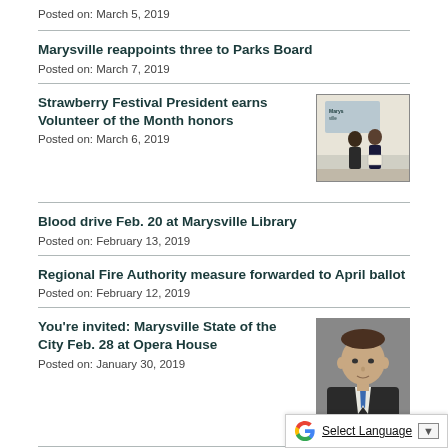Posted on: March 5, 2019
Marysville reappoints three to Parks Board
Posted on: March 7, 2019
Strawberry Festival President earns Volunteer of the Month honors
Posted on: March 6, 2019
[Figure (photo): Two people standing in front of a Marysville sign, one holding a certificate]
Blood drive Feb. 20 at Marysville Library
Posted on: February 13, 2019
Regional Fire Authority measure forwarded to April ballot
Posted on: February 12, 2019
You're invited: Marysville State of the City Feb. 28 at Opera House
Posted on: January 30, 2019
[Figure (photo): Portrait photo of a man in a suit with a tie]
CDBG 2019 action plan for public review…